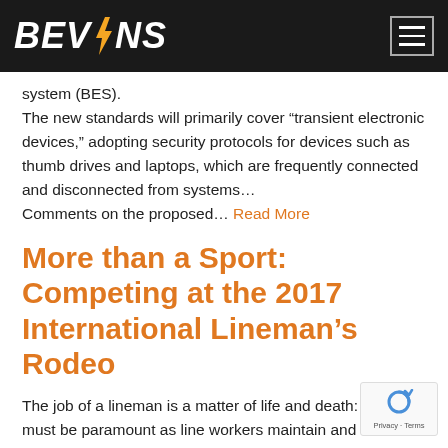BEVINS
system (BES).
The new standards will primarily cover “transient electronic devices,” adopting security protocols for devices such as thumb drives and laptops, which are frequently connected and disconnected from systems…
Comments on the proposed… Read More
More than a Sport: Competing at the 2017 International Lineman’s Rodeo
The job of a lineman is a matter of life and death: safety must be paramount as line workers maintain and restore power for modern civilization to function. And once a year, the best of the best come together to compete for the honor of being called world champion in the same tasks they…